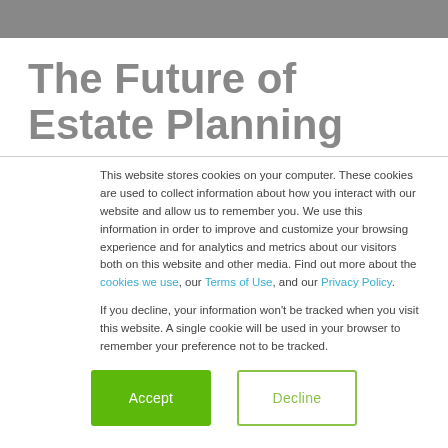The Future of Estate Planning
This website stores cookies on your computer. These cookies are used to collect information about how you interact with our website and allow us to remember you. We use this information in order to improve and customize your browsing experience and for analytics and metrics about our visitors both on this website and other media. Find out more about the cookies we use, our Terms of Use, and our Privacy Policy.
If you decline, your information won’t be tracked when you visit this website. A single cookie will be used in your browser to remember your preference not to be tracked.
Accept | Decline